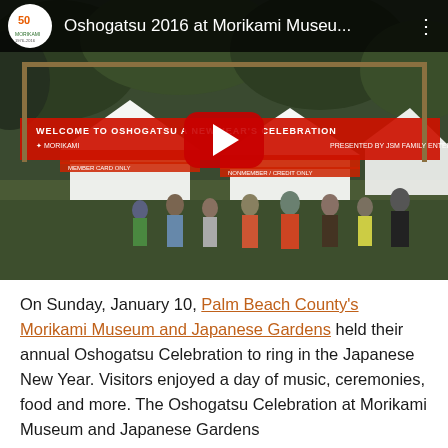[Figure (screenshot): YouTube video thumbnail showing Oshogatsu 2016 at Morikami Museum event. A large red banner reads 'Welcome to Oshogatsu - A New Year's Celebration' with Morikami branding. People walk beneath white event tents surrounded by trees. A large red YouTube play button is overlaid in the center. Top bar shows Morikami 50th anniversary logo and the title 'Oshogatsu 2016 at Morikami Museu...' on dark background.]
On Sunday, January 10, Palm Beach County's Morikami Museum and Japanese Gardens held their annual Oshogatsu Celebration to ring in the Japanese New Year. Visitors enjoyed a day of music, ceremonies, food and more. The Oshogatsu Celebration at Morikami Museum and Japanese Gardens...